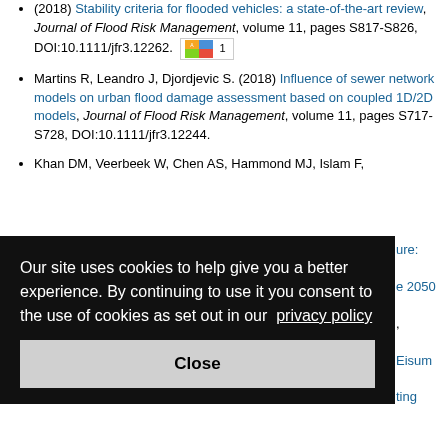(2018) Stability criteria for flooded vehicles: a state-of-the-art review, Journal of Flood Risk Management, volume 11, pages S817-S826, DOI:10.1111/jfr3.12262.
Martins R, Leandro J, Djordjevic S. (2018) Influence of sewer network models on urban flood damage assessment based on coupled 1D/2D models, Journal of Flood Risk Management, volume 11, pages S717-S728, DOI:10.1111/jfr3.12244.
Khan DM, Veerbeek W, Chen AS, Hammond MJ, Islam F, [partially obscured] ...ure: ...e 2050 ..., ...Eisum ...ting
Our site uses cookies to help give you a better experience. By continuing to use it you consent to the use of cookies as set out in our privacy policy